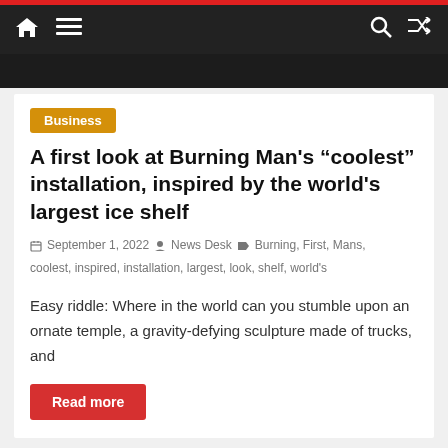Navigation bar with home, menu, search, and shuffle icons
Business
A first look at Burning Man’s “coolest” installation, inspired by the world’s largest ice shelf
September 1, 2022  News Desk  Burning, First, Mans, coolest, inspired, installation, largest, look, shelf, world’s
Easy riddle: Where in the world can you stumble upon an ornate temple, a gravity-defying sculpture made of trucks, and
Read more